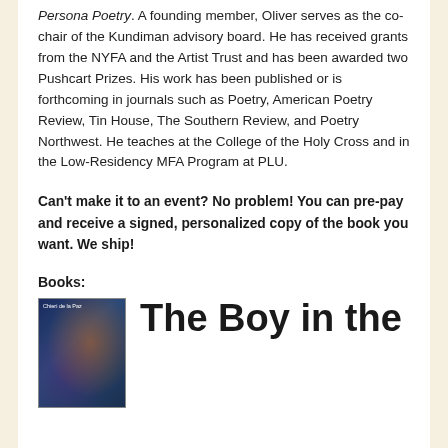Persona Poetry. A founding member, Oliver serves as the co-chair of the Kundiman advisory board. He has received grants from the NYFA and the Artist Trust and has been awarded two Pushcart Prizes. His work has been published or is forthcoming in journals such as Poetry, American Poetry Review, Tin House, The Southern Review, and Poetry Northwest. He teaches at the College of the Holy Cross and in the Low-Residency MFA Program at PLU.
Can't make it to an event? No problem! You can pre-pay and receive a signed, personalized copy of the book you want. We ship!
Books:
[Figure (illustration): Book cover image with dark blue tones, appears to show a figure, with small text reading 'Chieri de la Paz' at the top]
The Boy in the